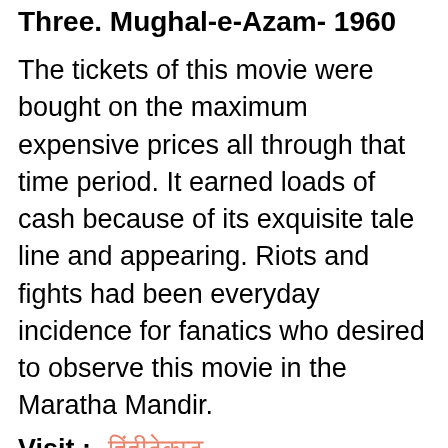Three. Mughal-e-Azam- 1960
The tickets of this movie were bought on the maximum expensive prices all through that time period. It earned loads of cash because of its exquisite tale line and appearing. Riots and fights had been everyday incidence for fanatics who desired to observe this movie in the Maratha Mandir.
Visit :- हिंदीटेक्स्ट
Four. Sholay- 1970
This was the largest awesome hit of Bollywood within the Nineteen Seventies. It had the best actors on